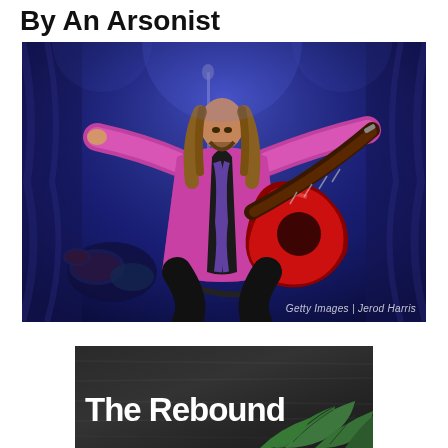By An Arsonist
[Figure (photo): A male musician on stage wearing a bright pink/magenta jacket and black shirt, playing a red electric guitar with arms outstretched wide, performing in front of blue stage lighting and curtains. Drum kit visible in background lower left.]
Getty Images | Jerod Harris
[Figure (photo): A dark background image with green tropical leaves in the lower right corner and large white bold text reading 'The Rebound']